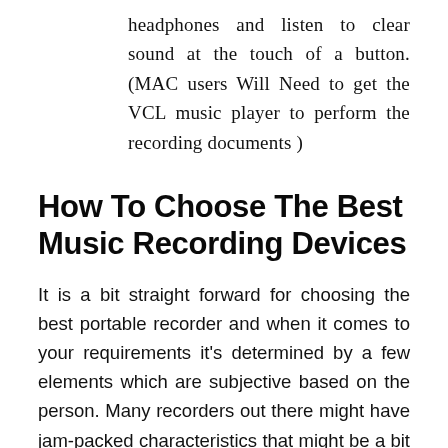headphones and listen to clear sound at the touch of a button. (MAC users Will Need to get the VCL music player to perform the recording documents )
How To Choose The Best Music Recording Devices
It is a bit straight forward for choosing the best portable recorder and when it comes to your requirements it's determined by a few elements which are subjective based on the person. Many recorders out there might have jam-packed characteristics that might be a bit overkill for you — perhaps you are just looking for a recorder that is...